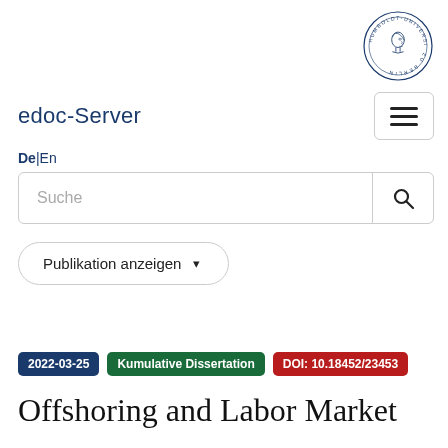[Figure (logo): Humboldt-Universität zu Berlin circular logo with profile illustration]
edoc-Server
De|En
Suche
Publikation anzeigen ▾
2022-03-25  Kumulative Dissertation  DOI: 10.18452/23453
Offshoring and Labor Market